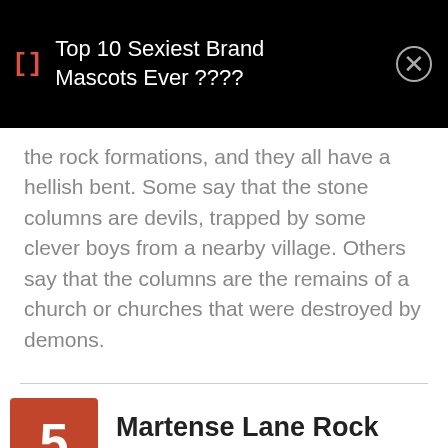[] Top 10 Sexiest Brand Mascots Ever ????
the rock formations, and they all have a hellish bent. Some say that the stone columns are devils, trapped by some clever boys from a nearby village. Others say that the columns are the remains of a church or churches that were destroyed by demons.
5 Martense Lane Rock US
Martense Lane Rock